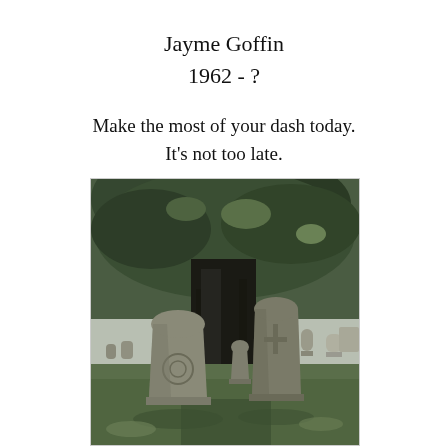Jayme Goffin
1962 - ?
Make the most of your dash today.
It's not too late.
[Figure (photo): Black and white photograph of a cemetery with old gravestones in the foreground and a large tree with dense foliage. Multiple grave markers are visible on a grass lawn with more headstones visible in the background.]